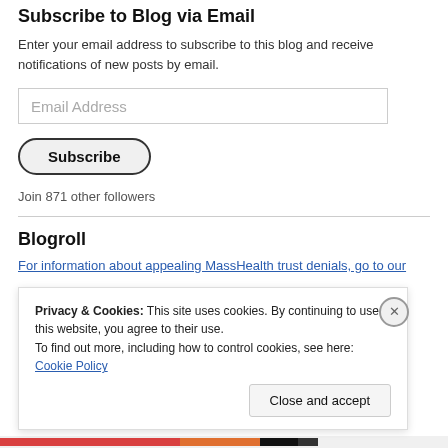Subscribe to Blog via Email
Enter your email address to subscribe to this blog and receive notifications of new posts by email.
Email Address
Subscribe
Join 871 other followers
Blogroll
For information about appealing MassHealth trust denials, go to our
Privacy & Cookies: This site uses cookies. By continuing to use this website, you agree to their use.
To find out more, including how to control cookies, see here: Cookie Policy
Close and accept